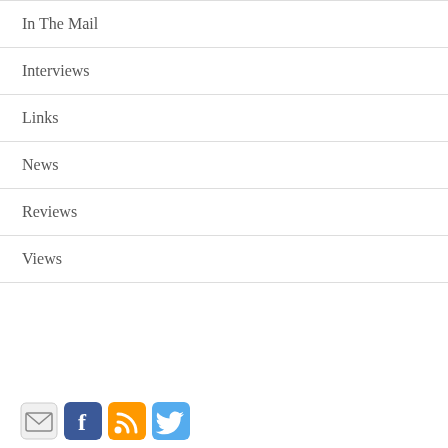In The Mail
Interviews
Links
News
Reviews
Views
[Figure (infographic): Row of four social media icons: email (envelope), Facebook (blue f), RSS (orange feed), Twitter (light blue bird)]